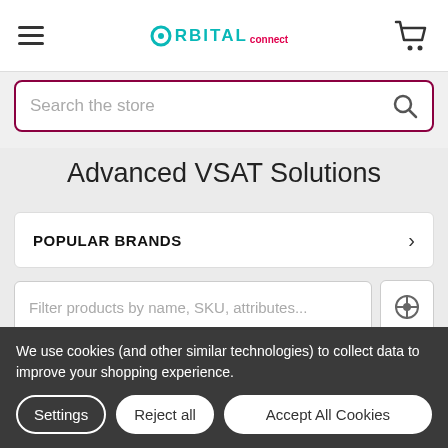Orbital Connect — navigation header with hamburger menu and cart icon
Search the store
Advanced VSAT Solutions
POPULAR BRANDS
Filter products by name, SKU, attributes...
We use cookies (and other similar technologies) to collect data to improve your shopping experience.
Settings | Reject all | Accept All Cookies